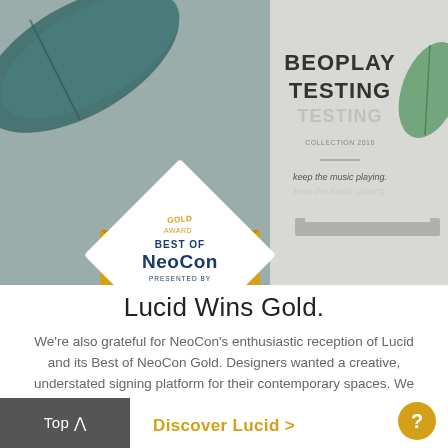[Figure (photo): Collage image: left side shows a gold envelope with a diamond-shaped 'Best of NeoCon Gold Award presented by contract' label on a teal/grey fabric background. Right side shows a blurred 'BEOPLAY TESTING' display/award with green leaves and text 'keep the music playing.' on a light background.]
Lucid Wins Gold.
We're also grateful for NeoCon's enthusiastic reception of Lucid and its Best of NeoCon Gold. Designers wanted a creative, understated signing platform for their contemporary spaces. We listened and created Lucid refined interior signage to meet their need.
Discover Lucid >
Top ^